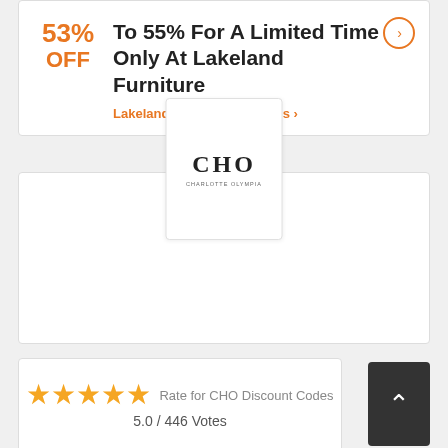53% OFF
To 55% For A Limited Time Only At Lakeland Furniture
Lakeland Furniture Coupons >
[Figure (logo): CHO logo — stylized CHO text with small tagline beneath]
Rate for CHO Discount Codes
5.0 / 446 Votes
Submit Coupon for CHO